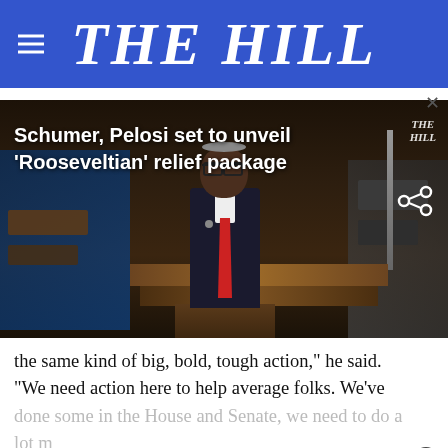THE HILL
[Figure (screenshot): Video still of a senator speaking at a podium in the US Senate chamber. Overlay text: 'Schumer, Pelosi set to unveil \'Rooseveltian\' relief package'. THE HILL watermark in top right.]
the same kind of big, bold, tough action," he said. "We need action here to help average folks. We've done some in the House and Senate, we need to do a lot mo
[Figure (infographic): Advertisement overlay: 'If you're noticing changes, it could be Alzheimer's. Visit a doctor together.' with photo of two men and a close button (×)]